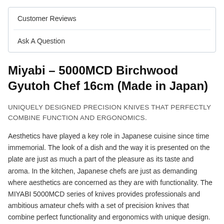Customer Reviews
Ask A Question
Miyabi – 5000MCD Birchwood Gyutoh Chef 16cm (Made in Japan)
UNIQUELY DESIGNED PRECISION KNIVES THAT PERFECTLY COMBINE FUNCTION AND ERGONOMICS.
Aesthetics have played a key role in Japanese cuisine since time immemorial. The look of a dish and the way it is presented on the plate are just as much a part of the pleasure as its taste and aroma. In the kitchen, Japanese chefs are just as demanding where aesthetics are concerned as they are with functionality. The MIYABI 5000MCD series of knives provides professionals and ambitious amateur chefs with a set of precision knives that combine perfect functionality and ergonomics with unique design.